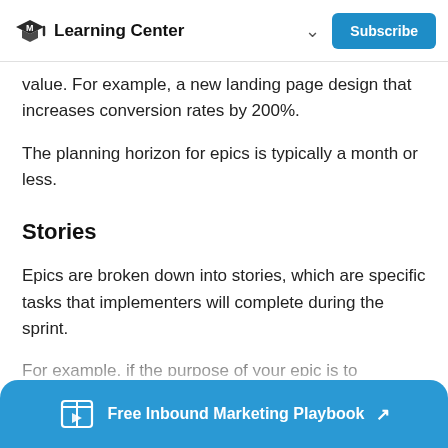Learning Center
value. For example, a new landing page design that increases conversion rates by 200%.
The planning horizon for epics is typically a month or less.
Stories
Epics are broken down into stories, which are specific tasks that implementers will complete during the sprint.
For example, if the purpose of your epic is to
Free Inbound Marketing Playbook ↗